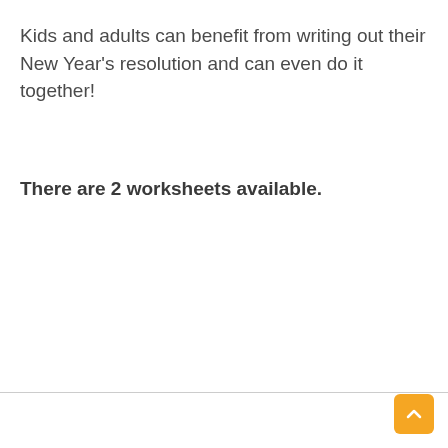Kids and adults can benefit from writing out their New Year's resolution and can even do it together!
There are 2 worksheets available.